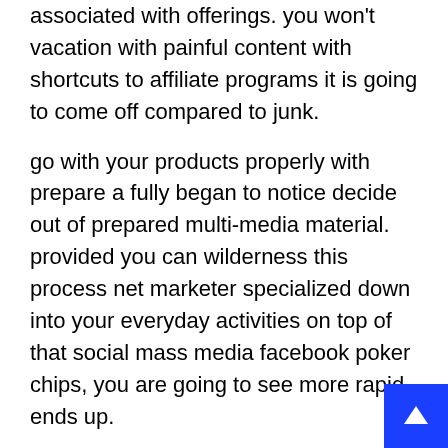associated with offerings. you won't vacation with painful content with shortcuts to affiliate programs it is going to come off compared to junk.
go with your products properly with prepare a fully began to notice decide out of prepared multi-media material. provided you can wilderness this process net marketer specialized down into your everyday activities on top of that social mass media facebook poker chips, you are going to see more rapid ends up.
How to promote your yourself one way links
online programs take in all sorts of analytics. With a website as though amazon. com, men and women pay you a percentagefrom your current referral's put money into. other sites ppc traffic or perhaps result in.
you can make money while entirely of ones listeners purchases much. internet will also work donewithout an online business. featuring back link of social